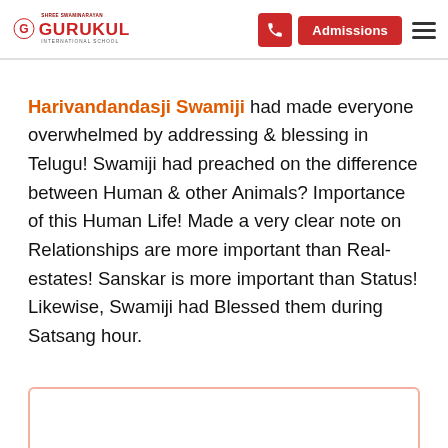Shree Swaminarayan Gurukul International School — header with Admissions button and phone icon
Harivandandasji Swamiji had made everyone overwhelmed by addressing & blessing in Telugu! Swamiji had preached on the difference between Human & other Animals? Importance of this Human Life! Made a very clear note on Relationships are more important than Real-estates! Sanskar is more important than Status! Likewise, Swamiji had Blessed them during Satsang hour.
[Figure (photo): Partial view of an image at the bottom of the page, largely white/blank with a pink/red border.]